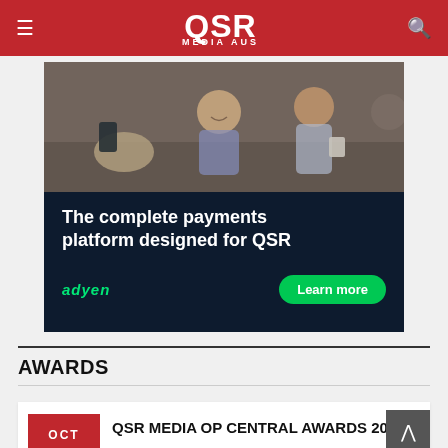QSR MEDIA AUS
[Figure (photo): Advertisement banner for Adyen payments platform. Top half shows photo of people at a cafe using a payment terminal. Bottom half has dark navy background with white text 'The complete payments platform designed for QSR', green Adyen logo, and green 'Learn more' button.]
AWARDS
QSR MEDIA OP CENTRAL AWARDS 2022
OCT 11